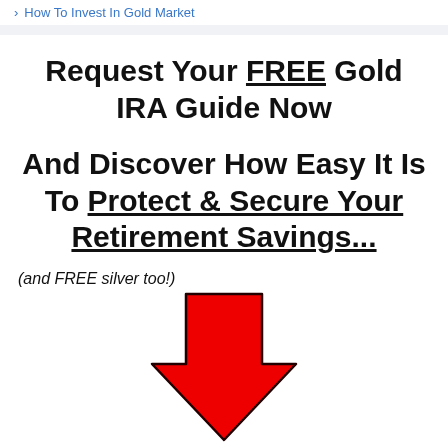How To Invest In Gold Market
Request Your FREE Gold IRA Guide Now
And Discover How Easy It Is To Protect & Secure Your Retirement Savings...
(and FREE silver too!)
[Figure (illustration): Large red downward-pointing arrow]